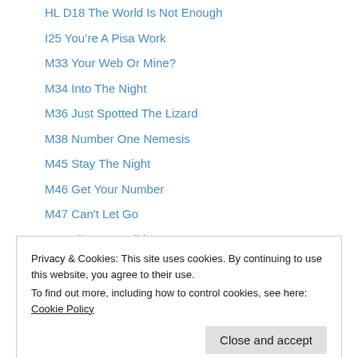HL D18 The World Is Not Enough
I25 You're A Pisa Work
M33 Your Web Or Mine?
M34 Into The Night
M36 Just Spotted The Lizard
M38 Number One Nemesis
M45 Stay The Night
M46 Get Your Number
M47 Can't Let Go
M48 The Impossible
N14 Fly
P15 Sparrow Me the Drama
P16 Planks a Lot
Privacy & Cookies: This site uses cookies. By continuing to use this website, you agree to their use.
To find out more, including how to control cookies, see here: Cookie Policy
ENR 02